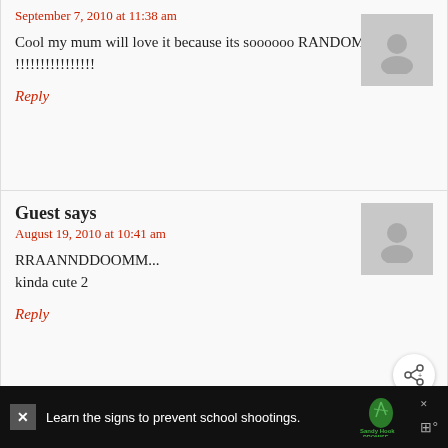September 7, 2010 at 11:38 am
Cool my mum will love it because its soooooo RANDOM !!!!!!!!!!!!!!!
Reply
Guest says
August 19, 2010 at 10:41 am
RRAANNDDOOMM...
kinda cute 2
Reply
mimih66 says
August 10, 2010 at 12:14 pm
This is too cute!!!
WHAT'S NEXT → Halloween Coat Hanger...
Learn the signs to prevent school shootings.